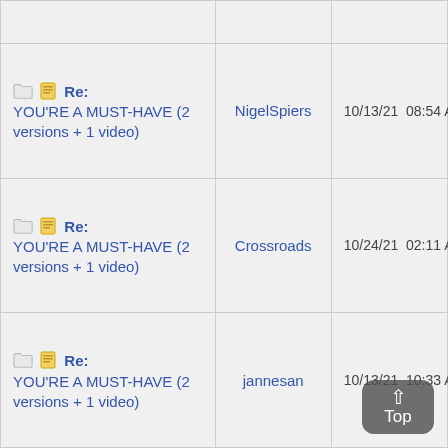| Topic | Author | Date |
| --- | --- | --- |
| Re: YOU'RE A MUST-HAVE (2 versions + 1 video) | NigelSpiers | 10/13/21  08:54 AM |
| Re: YOU'RE A MUST-HAVE (2 versions + 1 video) | Crossroads | 10/24/21  02:11 AM |
| Re: YOU'RE A MUST-HAVE (2 versions + 1 video) | jannesan | 10/13/21  10:33 AM |